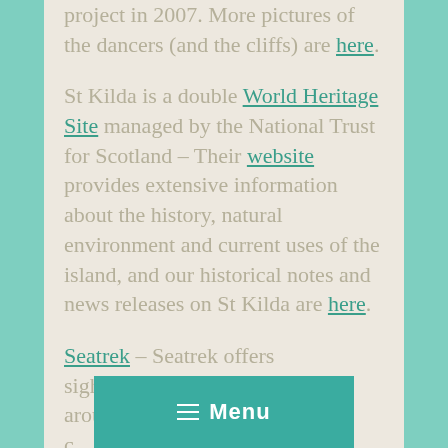project in 2007. More pictures of the dancers (and the cliffs) are here.
St Kilda is a double World Heritage Site managed by the National Trust for Scotland – Their website provides extensive information about the history, natural environment and current uses of the island, and our historical notes and news releases on St Kilda are here.
Seatrek – Seatrek offers sightseeing/wildlife boat trips around the stunning Uig c… …ewis …